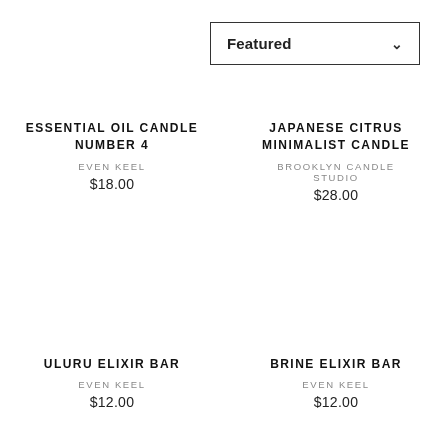Featured
ESSENTIAL OIL CANDLE NUMBER 4
EVEN KEEL
$18.00
JAPANESE CITRUS MINIMALIST CANDLE
BROOKLYN CANDLE STUDIO
$28.00
ULURU ELIXIR BAR
EVEN KEEL
$12.00
BRINE ELIXIR BAR
EVEN KEEL
$12.00